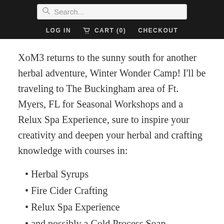Search... | LOG IN  CART (0)  CHECKOUT
XoM3 returns to the sunny south for another herbal adventure, Winter Wonder Camp! I'll be traveling to The Buckingham area of Ft. Myers, FL for Seasonal Workshops and a Relux Spa Experience, sure to inspire your creativity and deepen your herbal and crafting knowledge with courses in:
Herbal Syrups
Fire Cider Crafting
Relux Spa Experience
and possibly a Cold Process Soap